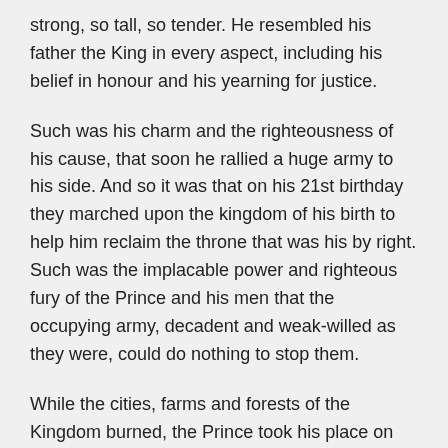strong, so tall, so tender. He resembled his father the King in every aspect, including his belief in honour and his yearning for justice.
Such was his charm and the righteousness of his cause, that soon he rallied a huge army to his side. And so it was that on his 21st birthday they marched upon the kingdom of his birth to help him reclaim the throne that was his by right. Such was the implacable power and righteous fury of the Prince and his men that the occupying army, decadent and weak-willed as they were, could do nothing to stop them.
While the cities, farms and forests of the Kingdom burned, the Prince took his place on his father’s throne, had his father’s crown placed upon his head, held his father’s sceptre in his hand.